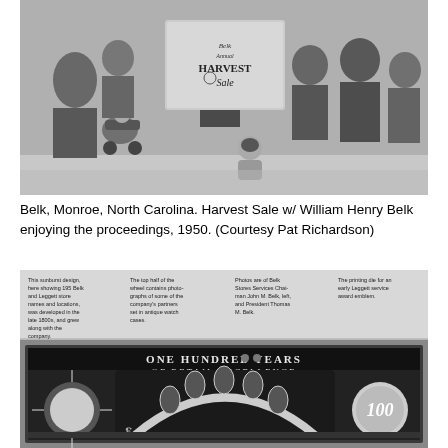[Figure (photo): Black and white photograph of a group of people at a Belk Harvest Sale event in Monroe, North Carolina, 1950. Several adults and children are visible, one holding a 'Belk Annual Harvest Sale' banner sign.]
Belk, Monroe, North Carolina. Harvest Sale w/ William Henry Belk enjoying the proceedings, 1950. (Courtesy Pat Richardson)
[Figure (photo): Black and white image of a decorative commemorative piece titled 'One Hundred Years of Retail Excellence' featuring a sunburst design, a wheel with photographs, and annotations describing its various elements including Belk and Leggett store names and locations, photographs of company partners in antique watch cases, photos of Belk Stores Services Chairman John M. Belk and President Thomas M. Belk, and a printing die for an early Leggett service award emblem.]